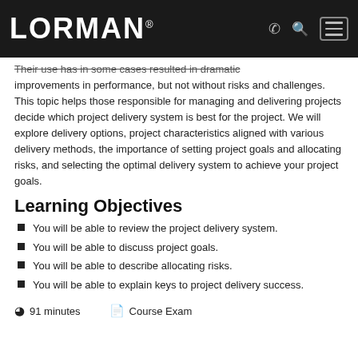LORMAN®
Their use has in some cases resulted in dramatic improvements in performance, but not without risks and challenges. This topic helps those responsible for managing and delivering projects decide which project delivery system is best for the project. We will explore delivery options, project characteristics aligned with various delivery methods, the importance of setting project goals and allocating risks, and selecting the optimal delivery system to achieve your project goals.
Learning Objectives
You will be able to review the project delivery system.
You will be able to discuss project goals.
You will be able to describe allocating risks.
You will be able to explain keys to project delivery success.
91 minutes   Course Exam